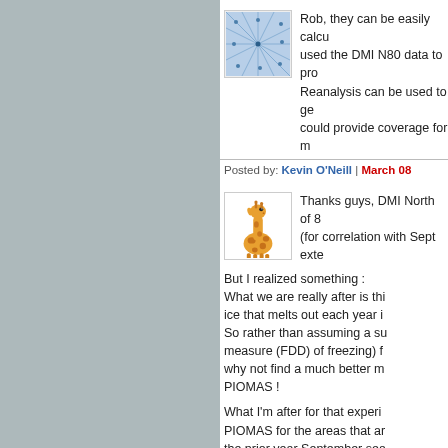[Figure (illustration): Abstract blue network/mesh pattern avatar image]
Rob, they can be easily calcu used the DMI N80 data to pro Reanalysis can be used to ge could provide coverage for m
Posted by: Kevin O'Neill | March 08
[Figure (illustration): Cartoon giraffe avatar image]
Thanks guys, DMI North of 8 (for correlation with Sept exte
But I realized something : What we are really after is thi ice that melts out each year i So rather than assuming a su measure (FDD) of freezing) f why not find a much better m PIOMAS !
What I'm after for that experi PIOMAS for the areas that ar the prior year September sea
So I need to go to a gridded s